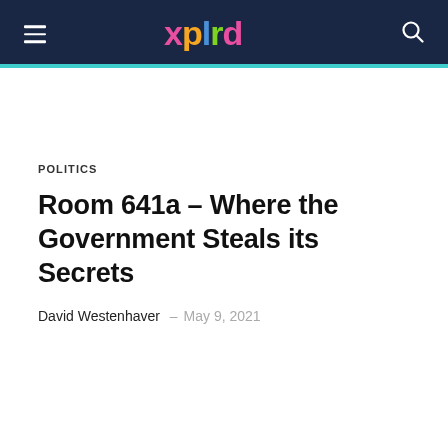xplrd
POLITICS
Room 641a – Where the Government Steals its Secrets
David Westenhaver – May 9, 2021